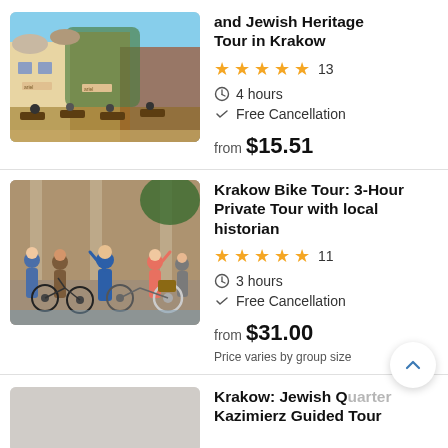[Figure (photo): Outdoor cafe/restaurant scene in a European old town with ivy-covered buildings]
and Jewish Heritage Tour in Krakow
★★★★½ 13
4 hours
Free Cancellation
from $15.51
[Figure (photo): Group of tourists with bicycles posing in front of a historic building]
Krakow Bike Tour: 3-Hour Private Tour with local historian
★★★★★ 11
3 hours
Free Cancellation
from $31.00
Price varies by group size
[Figure (photo): Partial image of third listing, grey/placeholder]
Krakow: Jewish Quarter Kazimierz Guided Tour